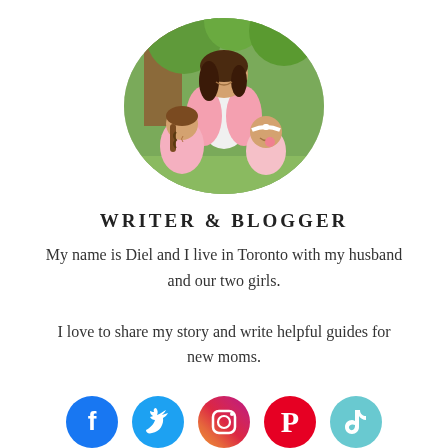[Figure (photo): Circular profile photo of a woman with two young girls, outdoors with green background]
WRITER & BLOGGER
My name is Diel and I live in Toronto with my husband and our two girls.

I love to share my story and write helpful guides for new moms.
[Figure (infographic): Row of social media icons: Facebook, Twitter, Instagram, Pinterest, TikTok]